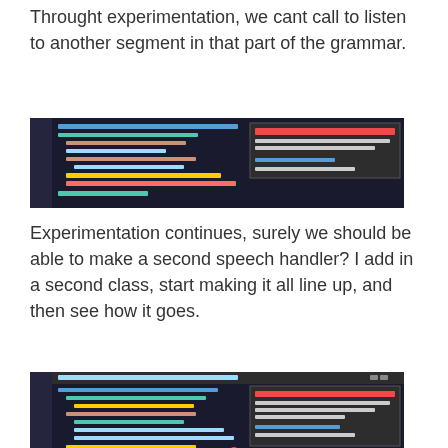Throught experimentation, we cant call to listen to another segment in that part of the grammar.
[Figure (screenshot): IDE screenshot showing C# code with a System.InvalidOperationException error dialog about performing an operation while the recognizer is doing recognition.]
Experimentation continues, surely we should be able to make a second speech handler? I add in a second class, start making it all line up, and then see how it goes.
[Figure (screenshot): IDE screenshot showing C# code with a System.NullReferenceException error: Object reference not set to an instance of an object. Answer was null.]
Well, I am confused. It apparently doesn't want to recognize my voice. It returns null, instead